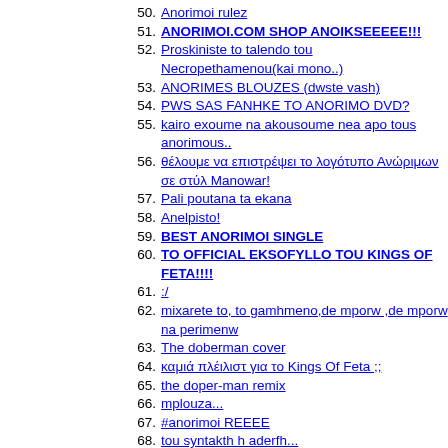50. Anorimoi rulez
51. ANORIMOI.COM SHOP ANOIKSEEEEE!!!
52. Proskiniste to talendo tou Necropethamenou(kai mono..)
53. ANORIMES BLOUZES (dwste vash)
54. PWS SAS FANHKE TO ANORIMO DVD?
55. kairo exoume na akousoume nea apo tous anorimous..
56. θέλουμε να επιστρέψει το λογότυπο Ανώριμων σε στύλ Manowar!
57. Pali poutana ta ekana
58. Anelpisto!
59. BEST ANORIMOI SINGLE
60. TO OFFICIAL EKSOFYLLO TOU KINGS OF FETA!!!!
61. :/
62. mixarete to, to gamhmeno,de mporw ,de mporw na perimenw
63. The doberman cover
64. καμιά πλέιλιστ για το Kings Of Feta ;;
65. the doper-man remix
66. mplouza...
67. #anorimoi REEEE
68. tou syntakth h aderfh...
69. live anorimothtes
70. O aderfos mou...
71. ta apokryfa tou trampakoula....
72. KATEVASTE TON KRAXTI! EPITELOUS!
73. Oti thelate na mathete gia to kings of feta -
74. PANO POTE THA XANAPAME GIA SOYVLAKIA STA MELLISIA REEEE
75. ZITEITAI WEBSPACE